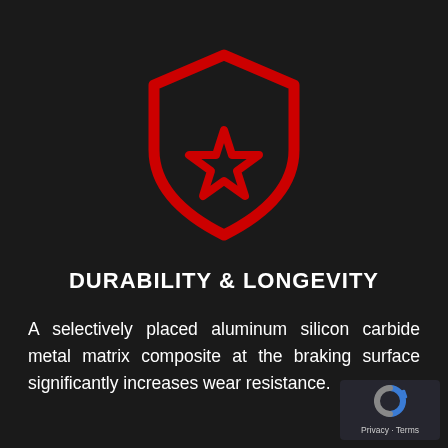[Figure (illustration): Red shield icon with a star cutout inside, on dark background. The shield outline is drawn in thick red strokes forming a hexagonal-bottom shield shape. A five-pointed star outline sits in the center-lower portion of the shield.]
DURABILITY & LONGEVITY
A selectively placed aluminum silicon carbide metal matrix composite at the braking surface significantly increases wear resistance.